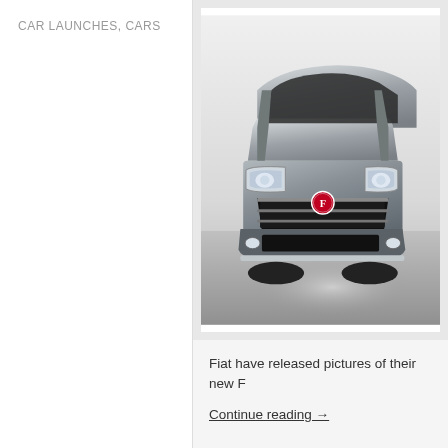CAR LAUNCHES, CARS
[Figure (photo): Front view of a Fiat SUV/crossover vehicle in a studio setting with neutral grey/white background. The car is silver/grey with Fiat badge prominently visible on the grille.]
Fiat have released pictures of their new F
Continue reading →